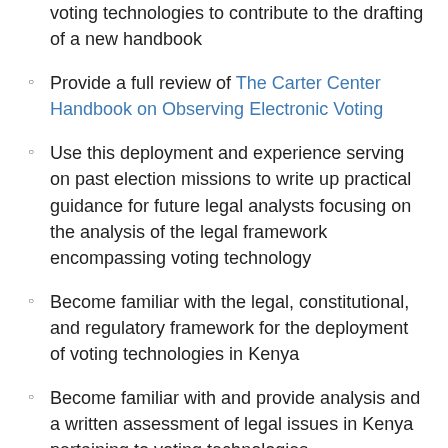voting technologies to contribute to the drafting of a new handbook
Provide a full review of The Carter Center Handbook on Observing Electronic Voting
Use this deployment and experience serving on past election missions to write up practical guidance for future legal analysts focusing on the analysis of the legal framework encompassing voting technology
Become familiar with the legal, constitutional, and regulatory framework for the deployment of voting technologies in Kenya
Become familiar with and provide analysis and a written assessment of legal issues in Kenya pertaining to voting technologies
In coordination with other team members and Atlanta